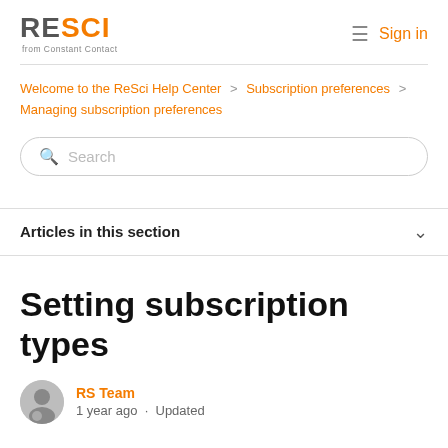ReSci from Constant Contact — Sign in
Welcome to the ReSci Help Center > Subscription preferences > Managing subscription preferences
Search
Articles in this section
Setting subscription types
RS Team
1 year ago · Updated